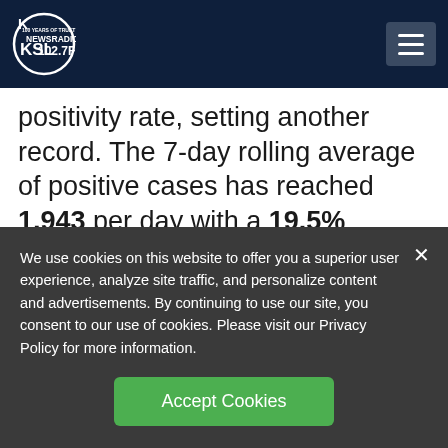KSL NewsRadio 102.7FM
positivity rate, setting another record. The 7-day rolling average of positive cases has reached 1,943 per day with a 19.5% positivity rate.
“It’s grim news and it’s discouraging,” said
We use cookies on this website to offer you a superior user experience, analyze site traffic, and personalize content and advertisements. By continuing to use our site, you consent to our use of cookies. Please visit our Privacy Policy for more information.
Accept Cookies